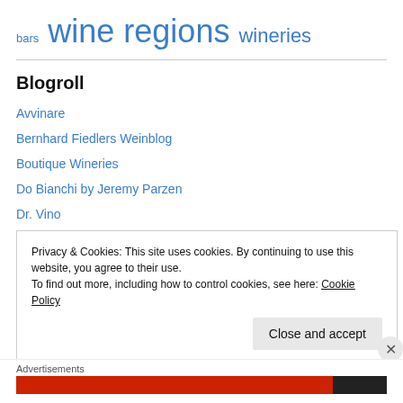bars  wine regions  wineries
Blogroll
Avvinare
Bernhard Fiedlers Weinblog
Boutique Wineries
Do Bianchi by Jeremy Parzen
Dr. Vino
Gembrook Hill Vineyard
Grape Radio
Privacy & Cookies: This site uses cookies. By continuing to use this website, you agree to their use.
To find out more, including how to control cookies, see here: Cookie Policy
Close and accept
Advertisements